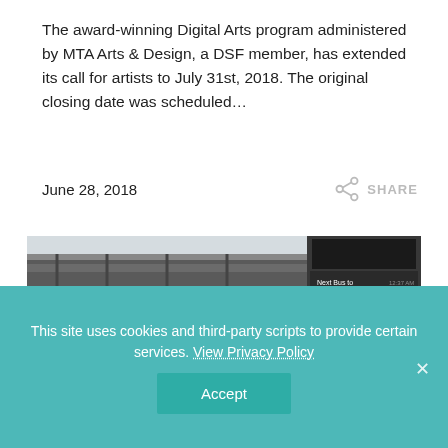The award-winning Digital Arts program administered by MTA Arts & Design, a DSF member, has extended its call for artists to July 31st, 2018. The original closing date was scheduled…
June 28, 2018
[Figure (photo): Photo of an elevated train track structure with a digital transit information kiosk/screen in the foreground showing bus stop information including Kings Plaza, Downtown Bklyn Fulton M, and Williamsburg Bridge Plaza.]
This site uses cookies and third-party scripts to provide certain services. View Privacy Policy
Accept